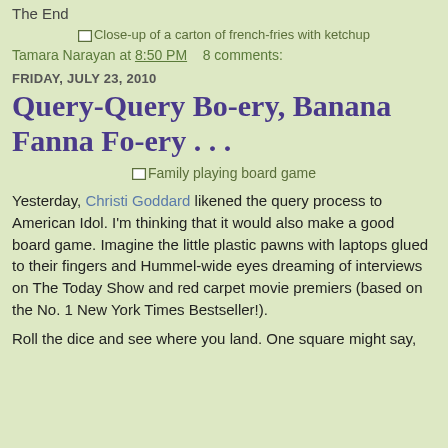The End
[Figure (photo): Close-up of a carton of french-fries with ketchup]
Tamara Narayan at 8:50 PM   8 comments:
FRIDAY, JULY 23, 2010
Query-Query Bo-ery, Banana Fanna Fo-ery . . .
[Figure (photo): Family playing board game]
Yesterday, Christi Goddard likened the query process to American Idol. I'm thinking that it would also make a good board game. Imagine the little plastic pawns with laptops glued to their fingers and Hummel-wide eyes dreaming of interviews on The Today Show and red carpet movie premiers (based on the No. 1 New York Times Bestseller!).
Roll the dice and see where you land. One square might say,